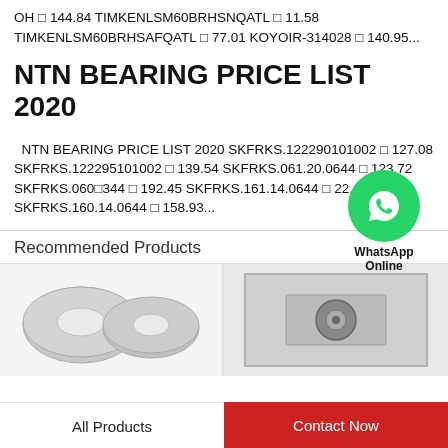OH □ 144.84 TIMKENLSM60BRHSNQATL □ 11.58 TIMKENLSM60BRHSAFQATL □ 77.01 KOYOIR-314028 □ 140.95...
NTN BEARING PRICE LIST 2020
NTN BEARING PRICE LIST 2020 SKFRKS.122290101002 □ 127.08 SKFRKS.122295101002 □ 139.54 SKFRKS.061.20.0644 □ 123.72 SKFRKS.060□344 □ 192.45 SKFRKS.161.14.0644 □ 22.40 SKFRKS.160.14.0644 □ 158.93...
[Figure (logo): WhatsApp Online green circle chat button with label]
Recommended Products
[Figure (photo): Flat metal washers / gaskets, round, silver-grey]
[Figure (photo): Bearing product in grey box packaging]
All Products
Contact Now